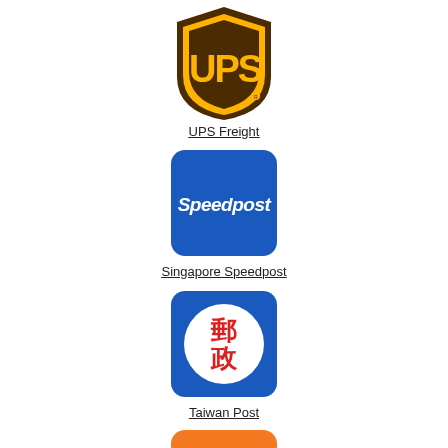[Figure (logo): UPS Freight logo - brown shield with yellow UPS lettering]
UPS Freight
[Figure (logo): Singapore Speedpost logo - blue rounded square with white Speedpost text]
Singapore Speedpost
[Figure (logo): Taiwan Post logo - blue rounded square with white circle containing red Chinese characters]
Taiwan Post
[Figure (logo): Partial logo at bottom - orange rounded square, partially visible]